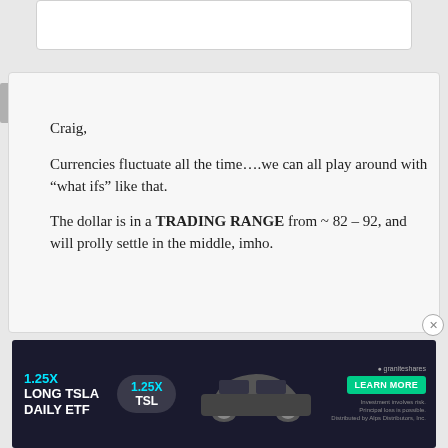ss commented on Aug 11
Craig,

Currencies fluctuate all the time....we can all play around with “what ifs” like that.

The dollar is in a TRADING RANGE from ~ 82 – 92, and will prolly settle in the middle, imho.
[Figure (screenshot): Advertisement banner for 1.25X Long TSLA Daily ETF by GraniteShares with Learn More button and Tesla car image]